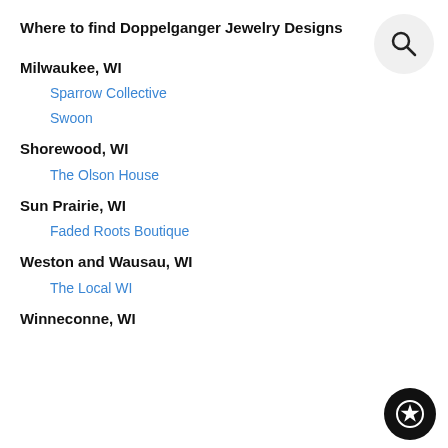Where to find Doppelganger Jewelry Designs
Milwaukee, WI
Sparrow Collective
Swoon
Shorewood, WI
The Olson House
Sun Prairie, WI
Faded Roots Boutique
Weston and Wausau, WI
The Local WI
Winneconne, WI